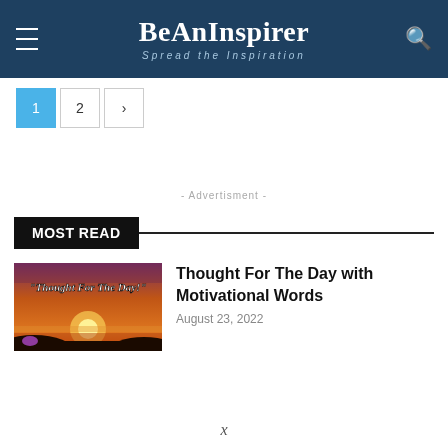BeAnInspirer — Spread the Inspiration
1 2 >
- Advertisment -
MOST READ
[Figure (photo): Thumbnail image showing a sunset with the text 'Thought For The Day!' overlaid in white italic font on an orange and purple sky background.]
Thought For The Day with Motivational Words
August 23, 2022
x